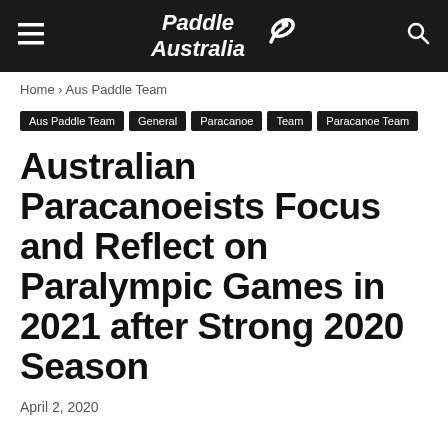Paddle Australia
Home › Aus Paddle Team
Aus Paddle Team | General | Paracanoe | Team | Paracanoe Team
Australian Paracanoeists Focus and Reflect on Paralympic Games in 2021 after Strong 2020 Season
April 2, 2020